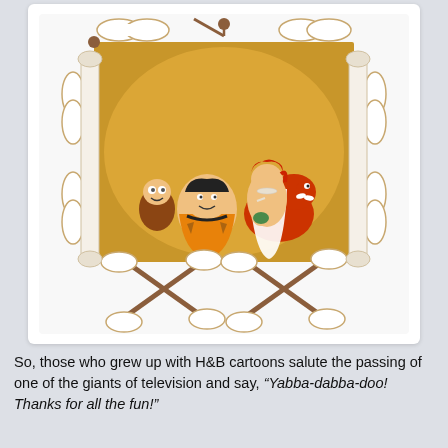[Figure (illustration): The Flintstones family portrait in a decorative bone-and-rope frame. Shows Fred Flintstone, Wilma holding baby Pebbles, Barney Rubble (or Bamm-Bamm), and Dino the dinosaur-dog, all posed together against a golden cave backdrop. The frame is made of white cartoonish bones tied with brown rope at the corners, with crossed bones at top and bottom.]
So, those who grew up with H&B cartoons salute the passing of one of the giants of television and say, “Yabba-dabba-doo! Thanks for all the fun!”